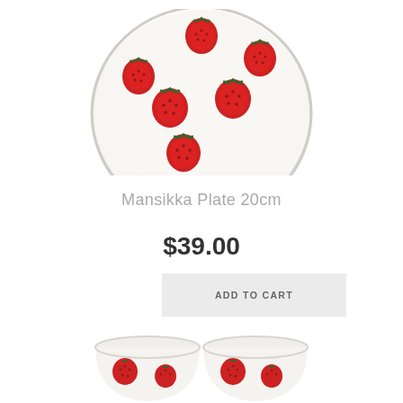[Figure (photo): Top portion of a white ceramic plate decorated with red strawberries and green leaves pattern (Mansikka design)]
Mansikka Plate 20cm
$39.00
ADD TO CART
[Figure (photo): Two white ceramic cups with red strawberry/poppy pattern at the bottom of the image, partially cropped]